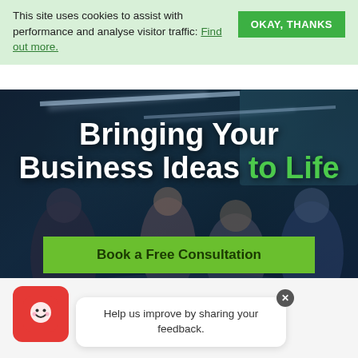This site uses cookies to assist with performance and analyse visitor traffic: Find out more.  OKAY, THANKS
[Figure (photo): Dark office scene with a group of professionals working around a table in a modern office with LED lighting]
Bringing Your Business Ideas to Life
Book a Free Consultation
Explore More
Help us improve by sharing your feedback.